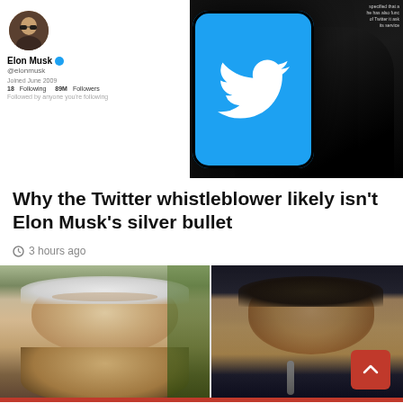[Figure (photo): Twitter app on a smartphone held in hand, with Elon Musk's Twitter profile visible on the left side in an overlay]
Why the Twitter whistleblower likely isn't Elon Musk's silver bullet
3 hours ago
[Figure (photo): Two politicians side by side: an older white-haired man on the left and a dark-haired man on the right, appearing to be Charlie Crist and Ron DeSantis]